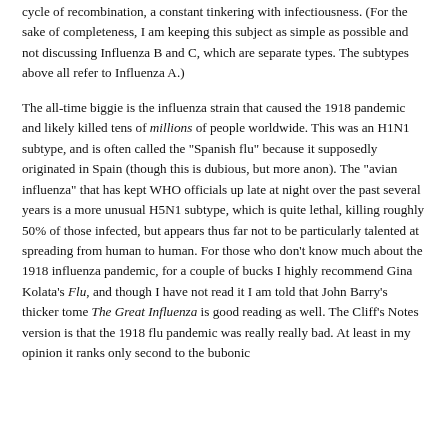cycle of recombination, a constant tinkering with infectiousness. (For the sake of completeness, I am keeping this subject as simple as possible and not discussing Influenza B and C, which are separate types. The subtypes above all refer to Influenza A.)
The all-time biggie is the influenza strain that caused the 1918 pandemic and likely killed tens of millions of people worldwide. This was an H1N1 subtype, and is often called the "Spanish flu" because it supposedly originated in Spain (though this is dubious, but more anon). The "avian influenza" that has kept WHO officials up late at night over the past several years is a more unusual H5N1 subtype, which is quite lethal, killing roughly 50% of those infected, but appears thus far not to be particularly talented at spreading from human to human. For those who don't know much about the 1918 influenza pandemic, for a couple of bucks I highly recommend Gina Kolata's Flu, and though I have not read it I am told that John Barry's thicker tome The Great Influenza is good reading as well. The Cliff's Notes version is that the 1918 flu pandemic was really really bad. At least in my opinion it ranks only second to the bubonic